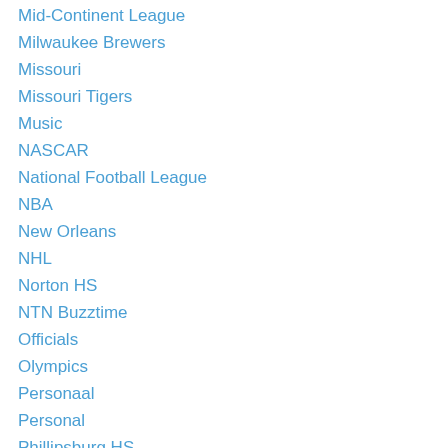Mid-Continent League
Milwaukee Brewers
Missouri
Missouri Tigers
Music
NASCAR
National Football League
NBA
New Orleans
NHL
Norton HS
NTN Buzztime
Officials
Olympics
Personaal
Personal
Phillipsburg HS
PISSED OFF
Politics
Personaal